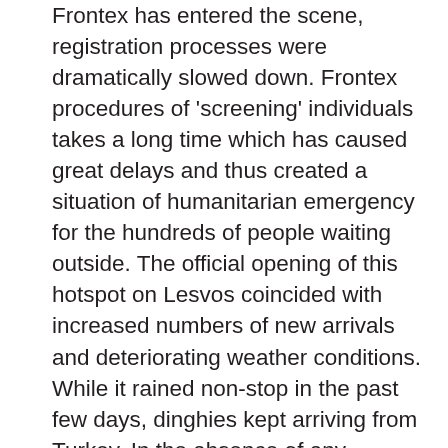Frontex has entered the scene, registration processes were dramatically slowed down. Frontex procedures of 'screening' individuals takes a long time which has caused great delays and thus created a situation of humanitarian emergency for the hundreds of people waiting outside. The official opening of this hotspot on Lesvos coincided with increased numbers of new arrivals and deteriorating weather conditions. While it rained non-stop in the past few days, dinghies kept arriving from Turkey. In the absence of any functioning queuing system and any form of crowd management by the authorities, and without access to shelter (protecting people from the harsh weather conditions), sanitary infrastructures such as toilets, as well as to food, water, dry clothing, medication and doctors, hundreds of desperate refugees are left to survive in